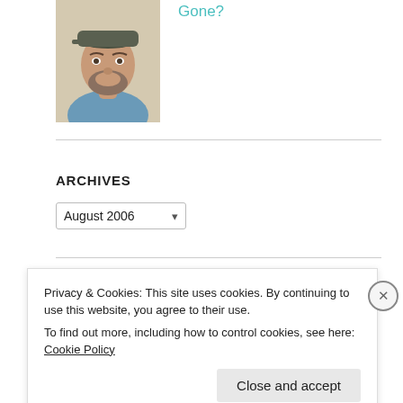[Figure (photo): Headshot photo of a bearded man wearing a dark cap and blue shirt]
Gone?
ARCHIVES
August 2006 (dropdown selector)
Baby  Blog  Books  Christmas  Comic Books  Comic Strip  Fantasy  fatherhood  Ficlet  General  Halloween
Privacy & Cookies: This site uses cookies. By continuing to use this website, you agree to their use.
To find out more, including how to control cookies, see here: Cookie Policy
Close and accept